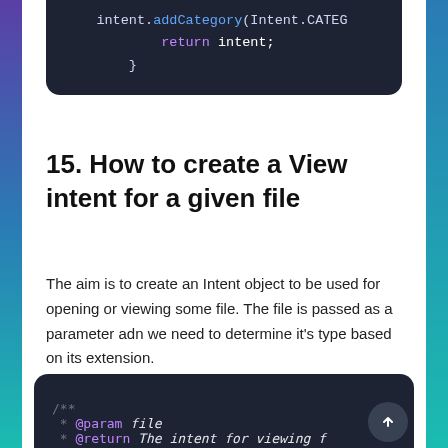[Figure (screenshot): Dark code block showing partial Java/Android code: intent.addCategory(Intent.CATEG  return intent;  }]
15. How to create a View intent for a given file
The aim is to create an Intent object to be used for opening or viewing some file. The file is passed as a parameter adn we need to determine it's type based on its extension.
[Figure (screenshot): Dark code block showing JavaDoc comment: /** * @param file * @return The intent for viewing f]